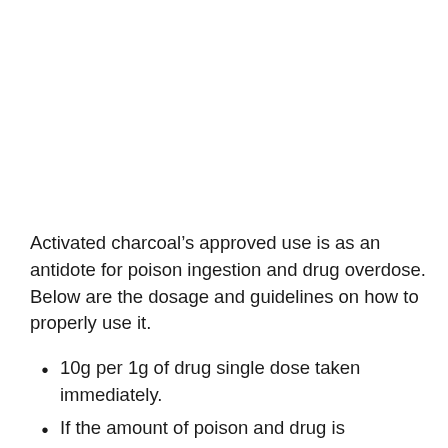Activated charcoal's approved use is as an antidote for poison ingestion and drug overdose. Below are the dosage and guidelines on how to properly use it.
10g per 1g of drug single dose taken immediately.
If the amount of poison and drug is unknown, it can be given at 1g/kg body weight as a single dose.
The minimum effective dose is 25g.